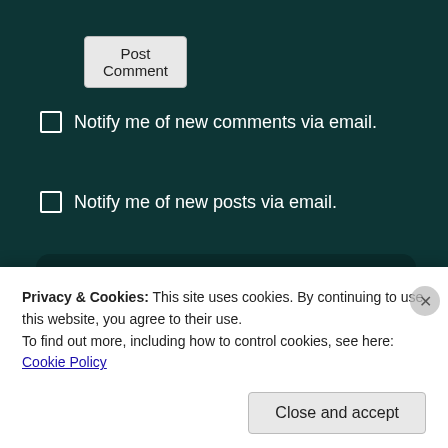Post Comment
Notify me of new comments via email.
Notify me of new posts via email.
[Figure (screenshot): Search bar with text input field and red GO button]
PAGES
About
Become A Contributor To Celebrity Babies Covered
Privacy & Cookies: This site uses cookies. By continuing to use this website, you agree to their use.
To find out more, including how to control cookies, see here: Cookie Policy
Close and accept